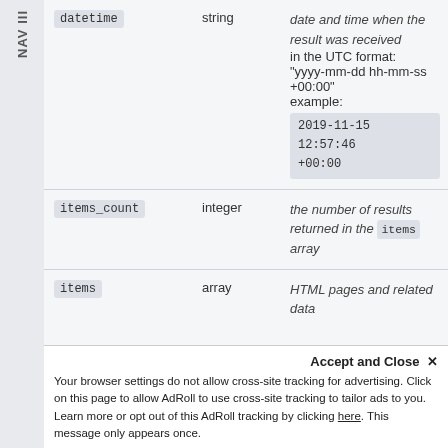NAV III
| Name | Type | Description |
| --- | --- | --- |
| datetime | string | date and time when the result was received
in the UTC format: "yyyy-mm-dd hh-mm-ss +00:00"
example: 2019-11-15 12:57:46 +00:00 |
| items_count | integer | the number of results returned in the items array |
| items | array | HTML pages and related data |
Accept and Close ✕
Your browser settings do not allow cross-site tracking for advertising. Click on this page to allow AdRoll to use cross-site tracking to tailor ads to you. Learn more or opt out of this AdRoll tracking by clicking here. This message only appears once.